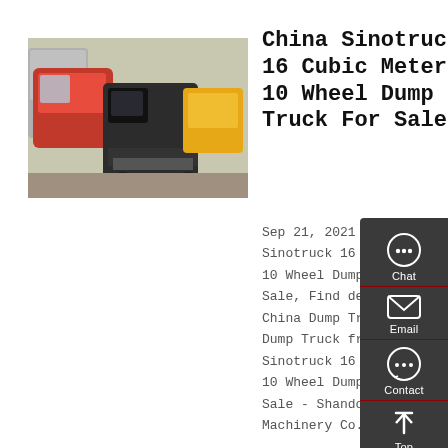[Figure (photo): Two Sinotruck dump truck cabs photographed from behind in a yard, with other trucks and machinery visible in the background.]
China Sinotruck 16 Cubic Meter 10 Wheel Dump Truck For Sale
Sep 21, 2021 · China Sinotruck 16 Cubic Meter 10 Wheel Dump Truck for Sale, Find details about China Dump Truck, 18 Ton Dump Truck from China Sinotruck 16 Cubic Meter 10 Wheel Dump Truck for Sale - Shandong Chengda Machinery Co., Ltd.